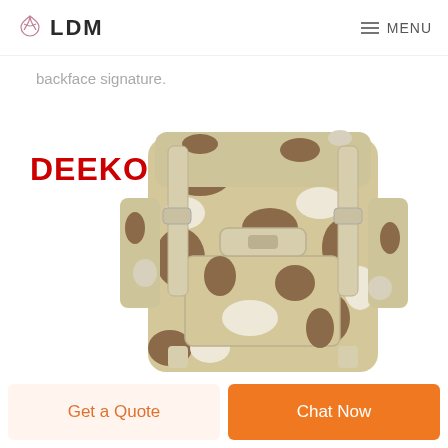LDM  MENU
backface signature.
[Figure (photo): A desert camouflage military backpack with DEEKON brand logo in red on the upper left. The backpack features multiple compartments, straps, and buckles in a sand/tan and brown camouflage pattern.]
Get a Quote
Chat Now